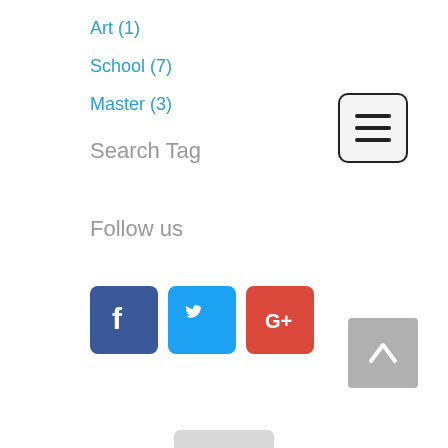Art (1)
School (7)
Master (3)
Search Tag
[Figure (other): Hamburger menu button with three horizontal lines]
Follow us
[Figure (other): Social media icons: Facebook, Twitter, Google+]
[Figure (other): Back to top arrow button]
[Figure (other): Device home bar at bottom]